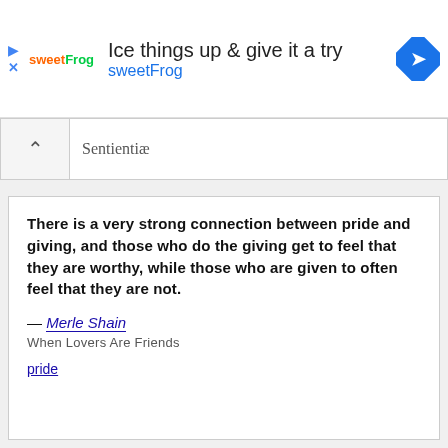[Figure (screenshot): sweetFrog advertisement banner with logo, headline 'Ice things up & give it a try', brand name 'sweetFrog', and a blue directions diamond icon on the right]
Sentientiæ
There is a very strong connection between pride and giving, and those who do the giving get to feel that they are worthy, while those who are given to often feel that they are not.
— Merle Shain
When Lovers Are Friends
pride